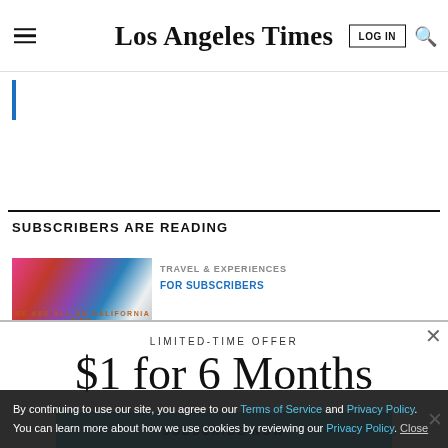Los Angeles Times
SUBSCRIBERS ARE READING
[Figure (photo): Article thumbnail image with colorful abstract/collage style artwork]
TRAVEL & EXPERIENCES
FOR SUBSCRIBERS
LIMITED-TIME OFFER
$1 for 6 Months
SUBSCRIBE NOW
By continuing to use our site, you agree to our Terms of Service and Privacy Policy. You can learn more about how we use cookies by reviewing our Privacy Policy. Close